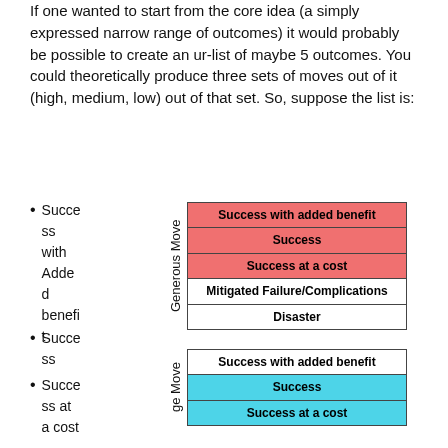If one wanted to start from the core idea (a simply expressed narrow range of outcomes) it would probably be possible to create an ur-list of maybe 5 outcomes. You could theoretically produce three sets of moves out of it (high, medium, low) out of that set. So, suppose the list is:
Success with Added benefit
Success
Success at a cost
Mitigated Failure/Complications
[Figure (infographic): A table labeled 'Generous Move' showing 5 outcome rows: 'Success with added benefit' (red), 'Success' (red), 'Success at a cost' (red), 'Mitigated Failure/Complications' (white), 'Disaster' (white)]
[Figure (infographic): A partial table labeled 'ge Move' (Average Move) showing outcome rows: 'Success with added benefit' (white), 'Success' (blue), 'Success at a cost' (blue)]